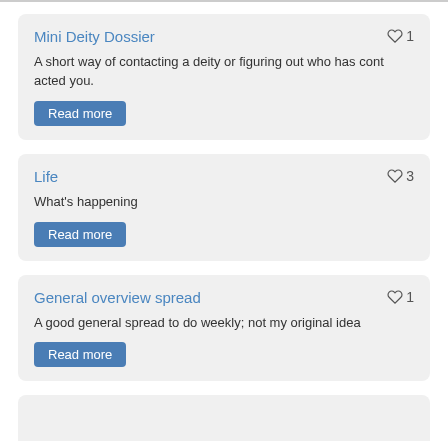Mini Deity Dossier
A short way of contacting a deity or figuring out who has contacted you.
♡ 1
Life
What's happening
♡ 3
General overview spread
A good general spread to do weekly; not my original idea
♡ 1